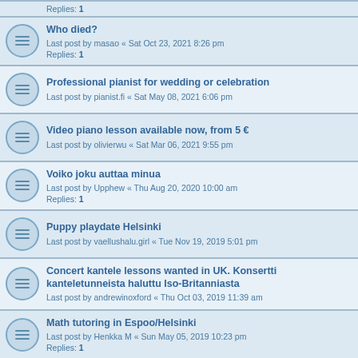Replies: 1
Who died?
Last post by masao « Sat Oct 23, 2021 8:26 pm
Replies: 1
Professional pianist for wedding or celebration
Last post by pianist.fi « Sat May 08, 2021 6:06 pm
Video piano lesson available now, from 5 €
Last post by olivierwu « Sat Mar 06, 2021 9:55 pm
Voiko joku auttaa minua
Last post by Upphew « Thu Aug 20, 2020 10:00 am
Replies: 1
Puppy playdate Helsinki
Last post by vaellushalu.girl « Tue Nov 19, 2019 5:01 pm
Concert kantele lessons wanted in UK. Konsertti kanteletunneista haluttu Iso-Britanniasta
Last post by andrewinoxford « Thu Oct 03, 2019 11:39 am
Math tutoring in Espoo/Helsinki
Last post by Henkka M « Sun May 05, 2019 10:23 pm
Replies: 1
YOUTUBE BUDDY, ANYONE?
Last post by Brent « Fri Dec 28, 2018 10:57 pm
Replies: 4
Piano and keyboard course from 5 €
Last post by rum1234 « Wed Oct 03, 2018 2:14 pm
Replies: 1
Hello please am looking for a friend named makela kimmo juhani
Last post by arttu « Fri Sep 28, 2018 12:44 pm